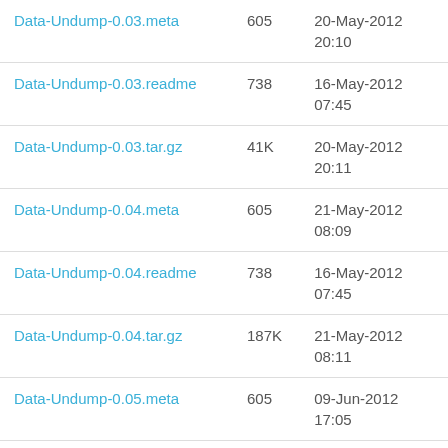| Name | Size | Date |
| --- | --- | --- |
| Data-Undump-0.03.meta | 605 | 20-May-2012 20:10 |
| Data-Undump-0.03.readme | 738 | 16-May-2012 07:45 |
| Data-Undump-0.03.tar.gz | 41K | 20-May-2012 20:11 |
| Data-Undump-0.04.meta | 605 | 21-May-2012 08:09 |
| Data-Undump-0.04.readme | 738 | 16-May-2012 07:45 |
| Data-Undump-0.04.tar.gz | 187K | 21-May-2012 08:11 |
| Data-Undump-0.05.meta | 605 | 09-Jun-2012 17:05 |
| Data-Undump-0.05.readme | 738 | 16-May-2012 07:45 |
| Data-Undump-0.05.tar.gz | 187K | 09-Jun-2012 17:09 |
| Data-Undump-0.08.meta | 605 | 30-Jul-2012 |